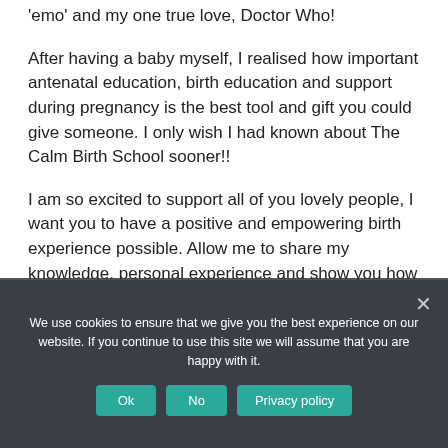'emo' and my one true love, Doctor Who!
After having a baby myself, I realised how important antenatal education, birth education and support during pregnancy is the best tool and gift you could give someone. I only wish I had known about The Calm Birth School sooner!!
I am so excited to support all of you lovely people, I want you to have a positive and empowering birth experience possible. Allow me to share my knowledge, personal experience and show you how you can access your full birthing strength within you!
We use cookies to ensure that we give you the best experience on our website. If you continue to use this site we will assume that you are happy with it.